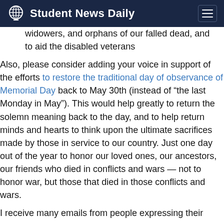Student News Daily
widowers, and orphans of our falled dead, and to aid the disabled veterans
Also, please consider adding your voice in support of the efforts to restore the traditional day of observance of Memorial Day back to May 30th (instead of “the last Monday in May”). This would help greatly to return the solemn meaning back to the day, and to help return minds and hearts to think upon the ultimate sacrifices made by those in service to our country. Just one day out of the year to honor our loved ones, our ancestors, our friends who died in conflicts and wars — not to honor war, but those that died in those conflicts and wars.
I receive many emails from people expressing their